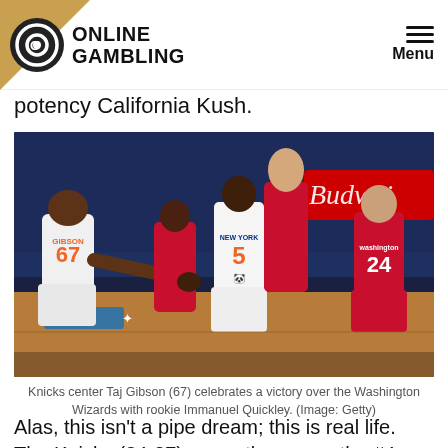ONLINE GAMBLING | Menu
potency California Kush.
[Figure (photo): NBA basketball players on court. Knicks center Taj Gibson (#67) in white uniform shaking hands with teammate Immanuel Quickley (#5), also in white New York Knicks uniform. Washington Wizards players in red uniforms surrounding them. Budweiser advertisement visible in background.]
Knicks center Taj Gibson (67) celebrates a victory over the Washington Wizards with rookie Immanuel Quickley. (Image: Getty)
Alas, this isn't a pipe dream; this is real life. The Knicks (34-27) currently occupy the #4 seed in the Eastern Conference playoffs, while the Washington Wizards (27-33) are on an